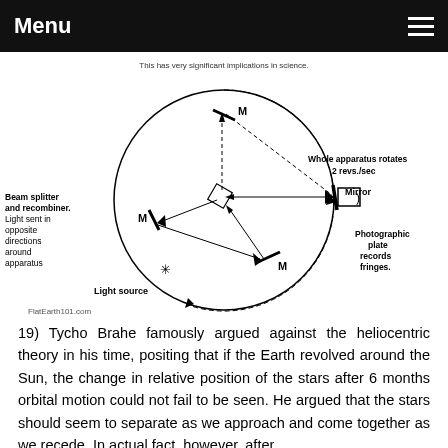Menu
[Figure (schematic): Diagram of a Sagnac interferometer / ring laser apparatus. A large circle represents the rotating apparatus (2 revs./sec). Labels indicate: Beam splitter and recombiner (light sent in opposite directions around apparatus), Mirror (M labels on three mirrors around the ring), Whole apparatus rotates 2 revs./sec, Light source, Photographic plate records fringes. Arrows show light paths going clockwise and counterclockwise around the ring. Caption at top: 'This has very significant implications in science.' Watermark: FlatEarth101.com]
19) Tycho Brahe famously argued against the heliocentric theory in his time, positing that if the Earth revolved around the Sun, the change in relative position of the stars after 6 months orbital motion could not fail to be seen. He argued that the stars should seem to separate as we approach and come together as we recede. In actual fact, however, after